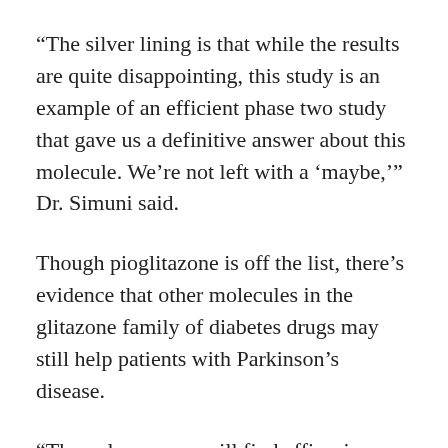“The silver lining is that while the results are quite disappointing, this study is an example of an efficient phase two study that gave us a definitive answer about this molecule. We’re not left with a ‘maybe,’” Dr. Simuni said.
Though pioglitazone is off the list, there’s evidence that other molecules in the glitazone family of diabetes drugs may still help patients with Parkinson’s disease.
“The only way we will find efficacious molecules is to continue testing the drugs that have been best characterized in preclinical trials,” Dr. Simuni said.
“Th...